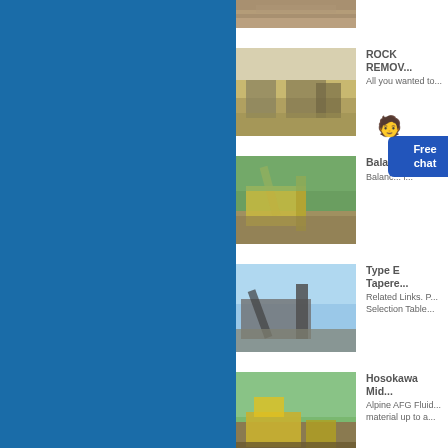[Figure (photo): Partial view of mining/construction site at top]
[Figure (photo): Rock removal site with excavators and piles of rock]
ROCK REMOV...
All you wanted to...
[Figure (photo): Large yellow crushing/screening machinery at a quarry]
Balancing e...
Balanc... i...
[Figure (photo): Mining conveyor and crusher equipment at a site]
Type E Tapere...
Related Links. P... Selection Table...
[Figure (photo): Large yellow excavator/mining machine on muddy ground]
Hosokawa Mid...
Alpine AFG Fluid... material up to a...
[Figure (photo): Partial view of another mining machine at bottom]